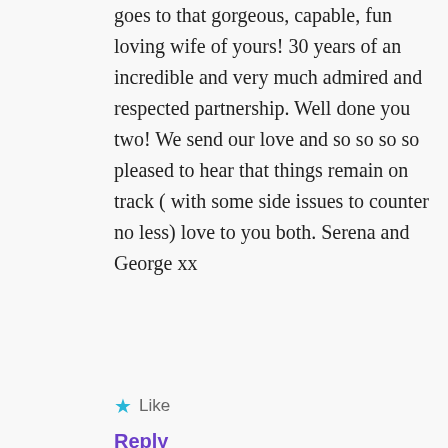goes to that gorgeous, capable, fun loving wife of yours! 30 years of an incredible and very much admired and respected partnership. Well done you two! We send our love and so so so so pleased to hear that things remain on track ( with some side issues to counter no less) love to you both. Serena and George xx
Like
Reply
Celeste O'Brien
april 19, 2018 at 9:20 pm
What wonderful news, I remember hassling them for those prelim results each and every